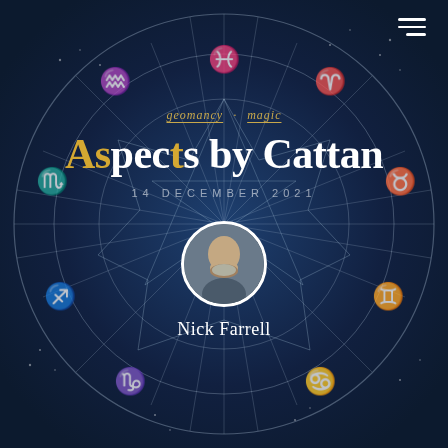[Figure (illustration): Zodiac wheel with astrological signs (Pisces, Aries, Taurus, Gemini, Cancer, Capricorn, Sagittarius, Scorpio, Aquarius) rendered as white/light glyphs on a dark navy blue background, with a star polygon (pentagram/heptagram) inscribed inside the wheel. Constellation dot patterns visible in the background.]
geomancy · magic
Aspects by Cattan
14 DECEMBER 2021
[Figure (photo): Circular portrait photo of Nick Farrell, a bald/shaved-head man with a grey beard, wearing a jacket, set in a white circular frame.]
Nick Farrell